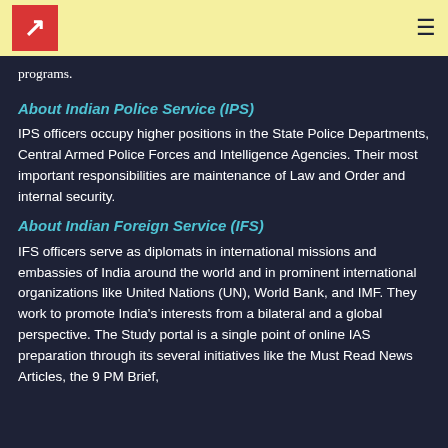programs.
About Indian Police Service (IPS)
IPS officers occupy higher positions in the State Police Departments, Central Armed Police Forces and Intelligence Agencies. Their most important responsibilities are maintenance of Law and Order and internal security.
About Indian Foreign Service (IFS)
IFS officers serve as diplomats in international missions and embassies of India around the world and in prominent international organizations like United Nations (UN), World Bank, and IMF. They work to promote India's interests from a bilateral and a global perspective. The Study portal is a single point of online IAS preparation through its several initiatives like the Must Read News Articles, the 9 PM Brief,